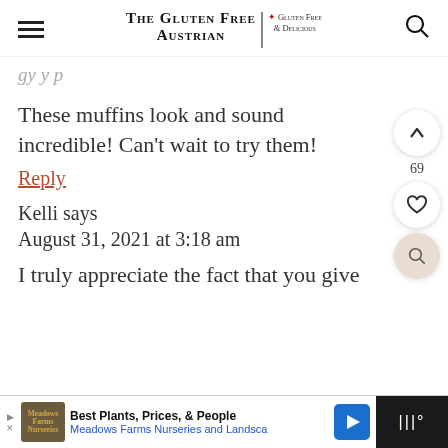The Gluten Free Austrian — Gluten Free & Delicious
[partial text — cropped at top]
These muffins look and sound incredible! Can't wait to try them!
Reply
Kelli says
August 31, 2021 at 3:18 am
I truly appreciate the fact that you give
[Figure (screenshot): Advertisement bar: Meadows Farms Nurseries and Landscape — Best Plants, Prices, & People]